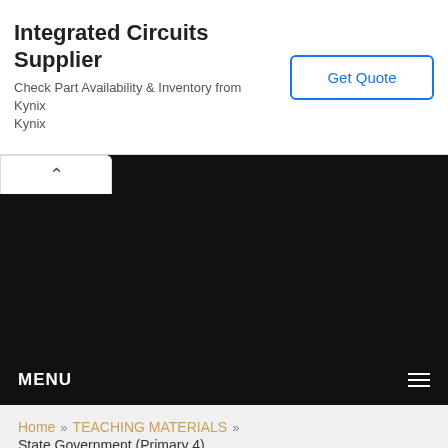[Figure (screenshot): Advertisement banner for Integrated Circuits Supplier (Kynix) with a Get Quote button]
Integrated Circuits Supplier
Check Part Availability & Inventory from Kynix
Kynix
[Figure (screenshot): Dark black area (collapsed video or banner area) with a white collapse tab showing a caret/up arrow on the left]
MENU
Home » TEACHING MATERIALS » State Government (Primary 4)
Enter Your Topic and Press Search